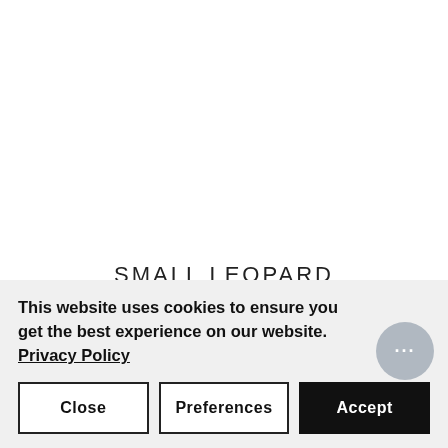SMALL LEOPARD
This classic animal print features irregular and circular black spots over a rich, warm brown background, mimicking a leopard's
This website uses cookies to ensure you get the best experience on our website. Privacy Policy
Close | Preferences | Accept